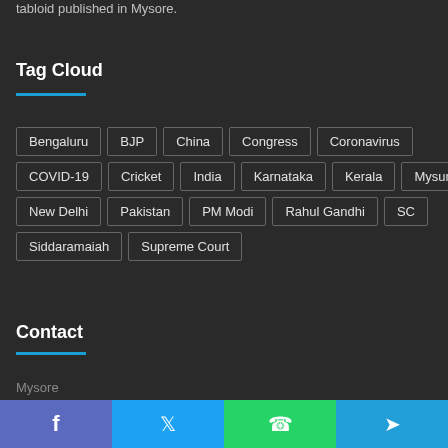tabloid published in Mysore.
Tag Cloud
Bengaluru BJP China Congress Coronavirus COVID-19 Cricket India Karnataka Kerala Mysuru New Delhi Pakistan PM Modi Rahul Gandhi SC Siddaramaiah Supreme Court
Contact
Mysore
f  t  w  tg